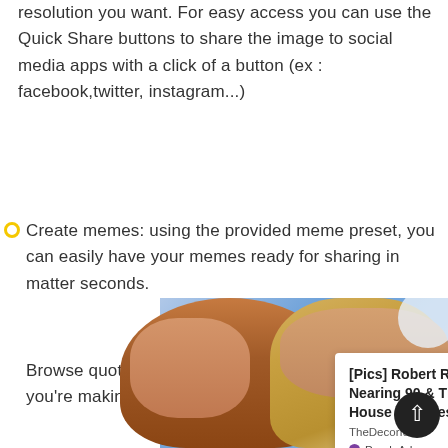resolution you want. For easy access you can use the Quick Share buttons to share the image to social media apps with a click of a button (ex : facebook,twitter, instagram...)
Create memes: using the provided meme preset, you can easily have your memes ready for sharing in matter seconds.
Browse quotes and insert anything you like, into what you're making !
[Figure (photo): Photo of two people close together, one with curly reddish-brown hair and one with highlighted blonde hair, set against a blue background. An ad overlay appears at the bottom right showing [Pics] Robert Redford Is Nearing 90 & This Is The House He Lives In Today from TheDecorIdeas / PurpleAds.]